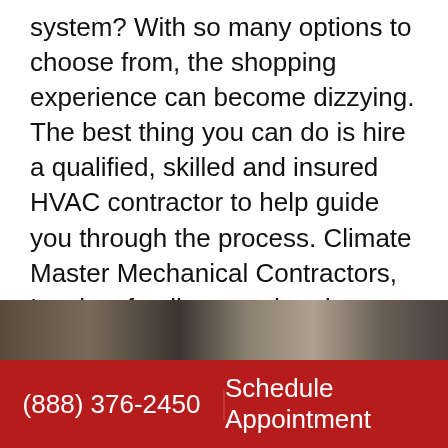system? With so many options to choose from, the shopping experience can become dizzying. The best thing you can do is hire a qualified, skilled and insured HVAC contractor to help guide you through the process. Climate Master Mechanical Contractors, Inc. is a family-owned and operated company that has been around since 1990. Throughout our decades of service, we've helped thousands of homeowners optimize their indoor climate control for comfort and efficiency.
[Figure (photo): Partial photo of a person or technician, shown at the bottom of the text block area, cropped at page edge]
(888) 376-2450
Schedule Appointment